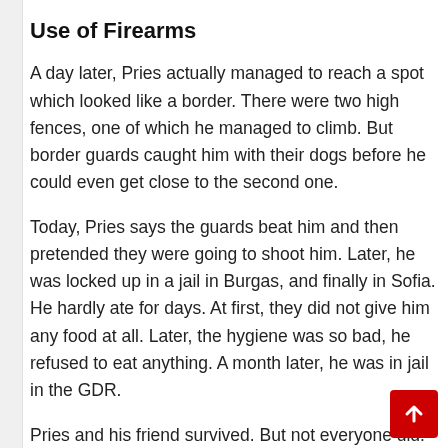Use of Firearms
A day later, Pries actually managed to reach a spot which looked like a border. There were two high fences, one of which he managed to climb. But border guards caught him with their dogs before he could even get close to the second one.
Today, Pries says the guards beat him and then pretended they were going to shoot him. Later, he was locked up in a jail in Burgas, and finally in Sofia. He hardly ate for days. At first, they did not give him any food at all. Later, the hygiene was so bad, he refused to eat anything. A month later, he was in jail in the GDR.
Pries and his friend survived. But not everyone did. Communist Bulgaria permitted its border